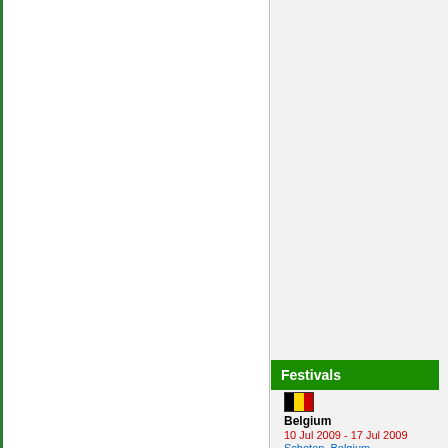Festivals
[Figure (illustration): Belgian flag icon — three vertical stripes: black, yellow, red — with a black border]
Belgium
10 Jul 2009 - 17 Jul 2009
Schoten, Belgium